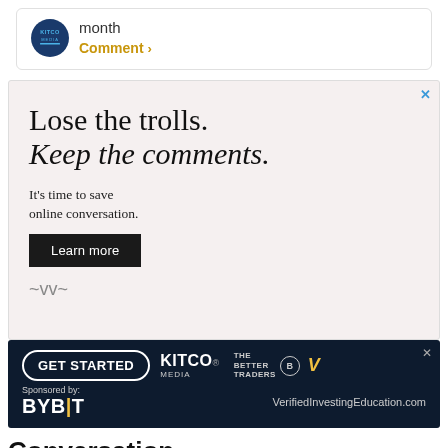month
Comment >
[Figure (infographic): Advertisement: 'Lose the trolls. Keep the comments. It's time to save online conversation. Learn more' on a light pink background with close X button.]
[Figure (infographic): Advertisement banner: GET STARTED button, KITCO MEDIA logo, THE BETTER TRADERS logo, V logo, Sponsored by BYBIT, VerifiedInvestingEducation.com on dark navy background.]
Conversation (10)